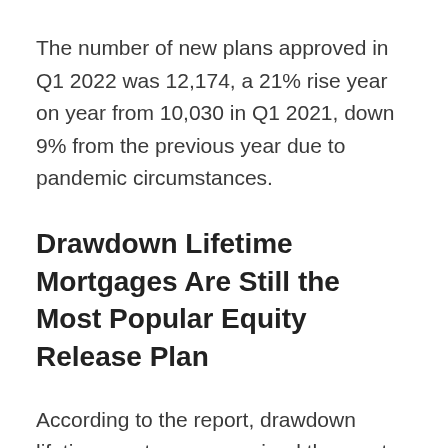The number of new plans approved in Q1 2022 was 12,174, a 21% rise year on year from 10,030 in Q1 2021, down 9% from the previous year due to pandemic circumstances.
Drawdown Lifetime Mortgages Are Still the Most Popular Equity Release Plan
According to the report, drawdown lifetime mortgages remained the most popular plan type...